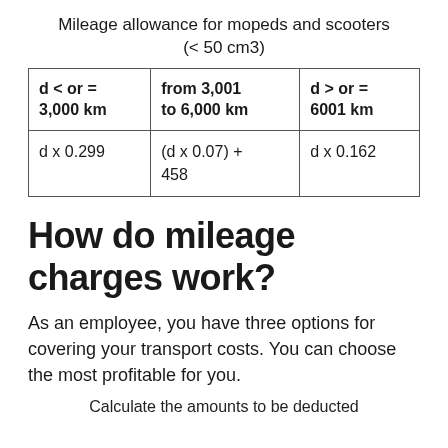Mileage allowance for mopeds and scooters (< 50 cm3)
| d < or = 3,000 km | from 3,001 to 6,000 km | d > or = 6001 km |
| --- | --- | --- |
| d x 0.299 | (d x 0.07) + 458 | d x 0.162 |
How do mileage charges work?
As an employee, you have three options for covering your transport costs. You can choose the most profitable for you.
Calculate the amounts to be deducted